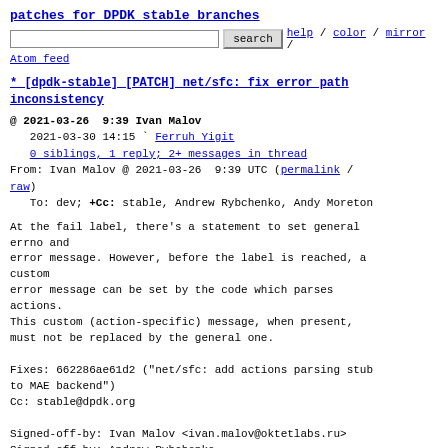patches for DPDK stable branches
search  help / color / mirror / Atom feed
* [dpdk-stable] [PATCH] net/sfc: fix error path inconsistency
@ 2021-03-26  9:39 Ivan Malov
  2021-03-30 14:15 ` Ferruh Yigit
  0 siblings, 1 reply; 2+ messages in thread
From: Ivan Malov @ 2021-03-26  9:39 UTC (permalink / raw)
To: dev; +Cc: stable, Andrew Rybchenko, Andy Moreton
At the fail label, there's a statement to set general errno and
error message. However, before the label is reached, a custom
error message can be set by the code which parses actions.
This custom (action-specific) message, when present,
must not be replaced by the general one.

Fixes: 662286ae61d2 ("net/sfc: add actions parsing stub
to MAE backend")
Cc: stable@dpdk.org

Signed-off-by: Ivan Malov <ivan.malov@oktetlabs.ru>
Signed-off-by: Andrew Rybchenko
<andrew.rybchenko@oktetlabs.ru>